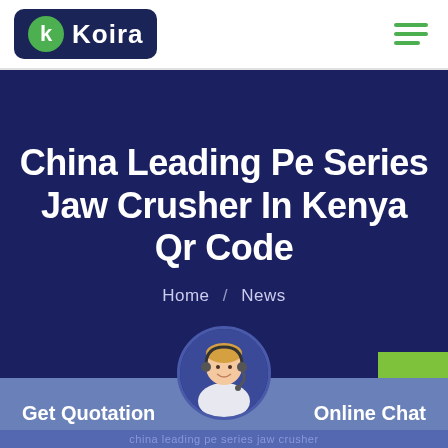Koira
China Leading Pe Series Jaw Crusher In Kenya Qr Code
Home / News
Get Quotation
Online Chat
[Figure (photo): Customer service agent with headset, circular portrait in bottom bar]
china leading pe series jaw crusher